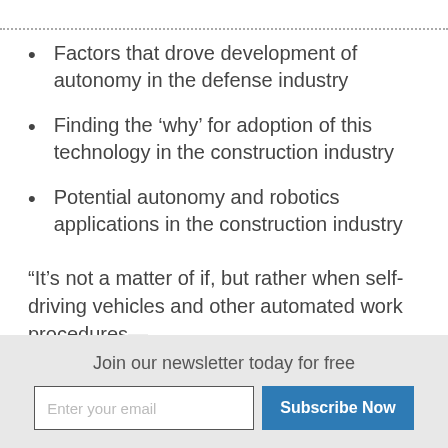Factors that drove development of autonomy in the defense industry
Finding the ‘why’ for adoption of this technology in the construction industry
Potential autonomy and robotics applications in the construction industry
“It’s not a matter of if, but rather when self-driving vehicles and other automated work procedures—
Join our newsletter today for free